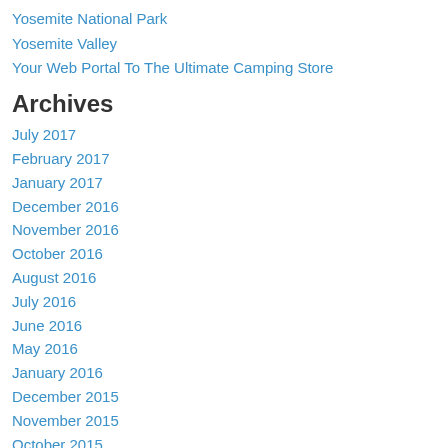Yosemite National Park
Yosemite Valley
Your Web Portal To The Ultimate Camping Store
Archives
July 2017
February 2017
January 2017
December 2016
November 2016
October 2016
August 2016
July 2016
June 2016
May 2016
January 2016
December 2015
November 2015
October 2015
September 2015
August 2015